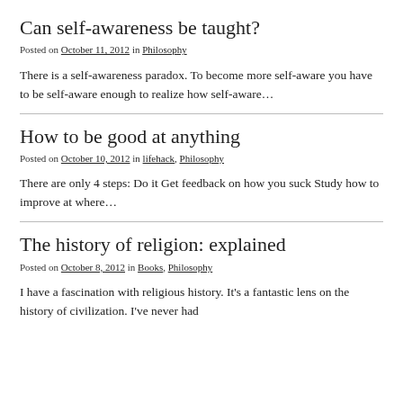Can self-awareness be taught?
Posted on October 11, 2012 in Philosophy
There is a self-awareness paradox. To become more self-aware you have to be self-aware enough to realize how self-aware…
How to be good at anything
Posted on October 10, 2012 in lifehack, Philosophy
There are only 4 steps: Do it Get feedback on how you suck Study how to improve at where…
The history of religion: explained
Posted on October 8, 2012 in Books, Philosophy
I have a fascination with religious history. It's a fantastic lens on the history of civilization. I've never had